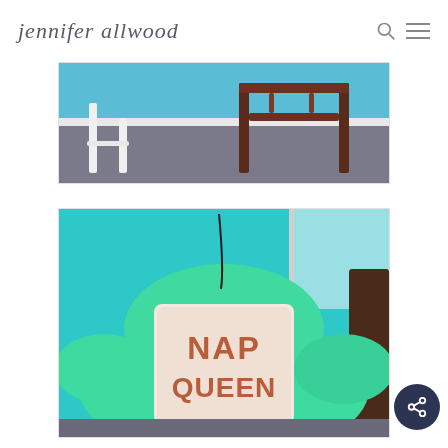jennifer allwood
[Figure (photo): A white chair leg and a dark wooden chair/table against carpet with blue wall background]
[Figure (photo): A mint green bean bag chair with a pillow that reads NAP QUEEN, set against a turquoise blue wall]